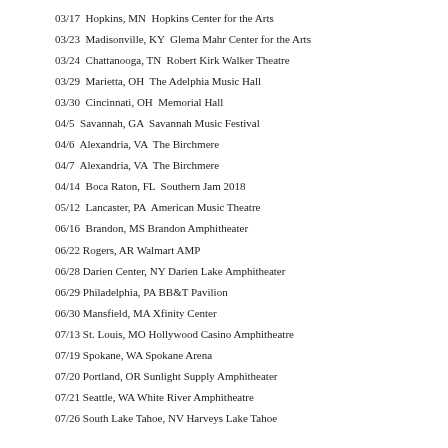03/17  Hopkins, MN  Hopkins Center for the Arts
03/23  Madisonville, KY  Glema Mahr Center for the Arts
03/24  Chattanooga, TN  Robert Kirk Walker Theatre
03/29  Marietta, OH  The Adelphia Music Hall
03/30  Cincinnati, OH  Memorial Hall
04/5  Savannah, GA  Savannah Music Festival
04/6  Alexandria, VA  The Birchmere
04/7  Alexandria, VA  The Birchmere
04/14  Boca Raton, FL  Southern Jam 2018
05/12  Lancaster, PA  American Music Theatre
06/16  Brandon, MS Brandon Amphitheater
06/22 Rogers, AR Walmart AMP
06/28 Darien Center, NY Darien Lake Amphitheater
06/29 Philadelphia, PA BB&T Pavilion
06/30 Mansfield, MA Xfinity Center
07/13 St. Louis, MO Hollywood Casino Amphitheatre
07/19 Spokane, WA Spokane Arena
07/20 Portland, OR Sunlight Supply Amphitheater
07/21 Seattle, WA White River Amphitheatre
07/26 South Lake Tahoe, NV Harveys Lake Tahoe